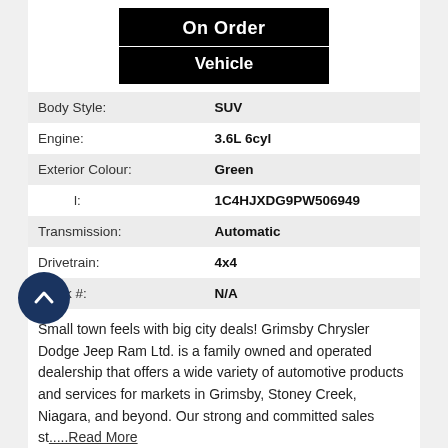[Figure (other): Black badge graphic with 'On Order' on top line and 'Vehicle' on bottom line, separated by a white horizontal rule]
| Body Style: | SUV |
| Engine: | 3.6L 6cyl |
| Exterior Colour: | Green |
| VIN: | 1C4HJXDG9PW506949 |
| Transmission: | Automatic |
| Drivetrain: | 4x4 |
| Stock #: | N/A |
Small town feels with big city deals! Grimsby Chrysler Dodge Jeep Ram Ltd. is a family owned and operated dealership that offers a wide variety of automotive products and services for markets in Grimsby, Stoney Creek, Niagara, and beyond. Our strong and committed sales st.....Read More